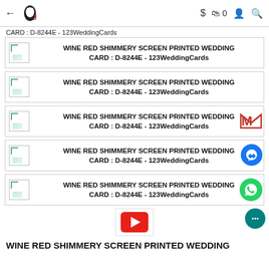← [logo] $ 🛍 0 👤 🔍
CARD : D-8244E - 123WeddingCards
WINE RED SHIMMERY SCREEN PRINTED WEDDING CARD : D-8244E - 123WeddingCards
WINE RED SHIMMERY SCREEN PRINTED WEDDING CARD : D-8244E - 123WeddingCards
WINE RED SHIMMERY SCREEN PRINTED WEDDING CARD : D-8244E - 123WeddingCards
WINE RED SHIMMERY SCREEN PRINTED WEDDING CARD : D-8244E - 123WeddingCards
WINE RED SHIMMERY SCREEN PRINTED WEDDING CARD : D-8244E - 123WeddingCards
[Figure (screenshot): YouTube video play button thumbnail]
WINE RED SHIMMERY SCREEN PRINTED WEDDING